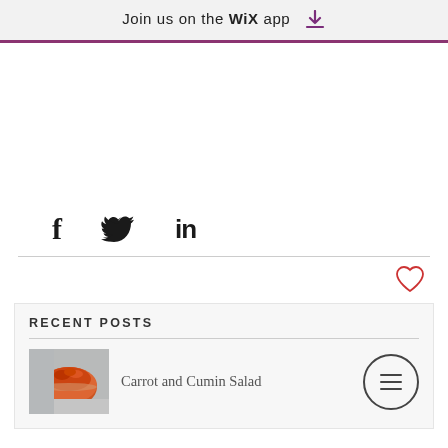Join us on the WiX app ⬇
[Figure (other): Social share icons: Facebook (f), Twitter (bird), LinkedIn (in)]
[Figure (other): Heart/like icon (outline heart shape in red/pink)]
RECENT POSTS
[Figure (photo): Thumbnail photo of a bowl of carrot and cumin salad]
Carrot and Cumin Salad